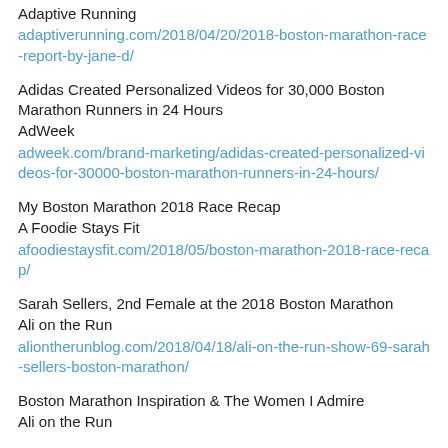Adaptive Running
adaptiverunning.com/2018/04/20/2018-boston-marathon-race-report-by-jane-d/
Adidas Created Personalized Videos for 30,000 Boston Marathon Runners in 24 Hours
AdWeek
adweek.com/brand-marketing/adidas-created-personalized-videos-for-30000-boston-marathon-runners-in-24-hours/
My Boston Marathon 2018 Race Recap
A Foodie Stays Fit
afoodiestaysfit.com/2018/05/boston-marathon-2018-race-recap/
Sarah Sellers, 2nd Female at the 2018 Boston Marathon
Ali on the Run
aliontherunblog.com/2018/04/18/ali-on-the-run-show-69-sarah-sellers-boston-marathon/
Boston Marathon Inspiration & The Women I Admire
Ali on the Run